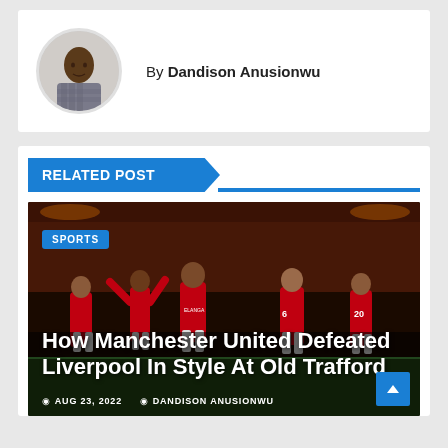[Figure (photo): Circular headshot of author Dandison Anusionwu, a man in a checkered shirt]
By Dandison Anusionwu
RELATED POST
[Figure (photo): Manchester United players in red jerseys celebrating at Old Trafford, with SPORTS badge overlay and article title 'How Manchester United Defeated Liverpool In Style At Old Trafford', date AUG 23, 2022, author DANDISON ANUSIONWU]